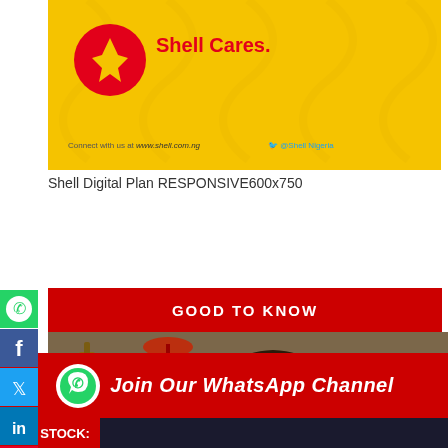[Figure (photo): Shell Cares advertisement banner with yellow background, Shell logo, 'Shell Cares.' text in red, website and Twitter handle at bottom]
Shell Digital Plan RESPONSIVE600x750
[Figure (photo): Red 'GOOD TO KNOW' banner section with a photo of a man with beard wearing patterned jacket in a bar setting]
[Figure (infographic): WhatsApp Channel join banner with red background, WhatsApp icon and text 'Join Our WhatsApp Channel' in white italic font]
NSE STOCK: